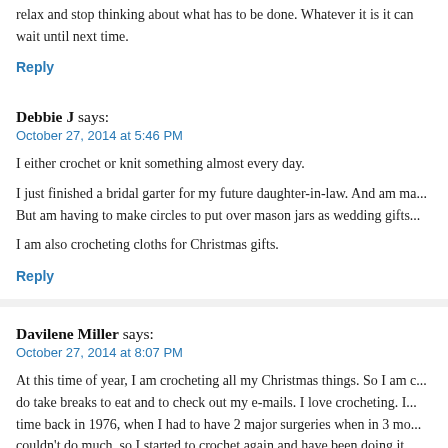relax and stop thinking about what has to be done. Whatever it is it can wait until next time.
Reply
Debbie J says:
October 27, 2014 at 5:46 PM
I either crochet or knit something almost every day.
I just finished a bridal garter for my future daughter-in-law. And am ma... But am having to make circles to put over mason jars as wedding gifts...
I am also crocheting cloths for Christmas gifts.
Reply
Davilene Miller says:
October 27, 2014 at 8:07 PM
At this time of year, I am crocheting all my Christmas things. So I am c... do take breaks to eat and to check out my e-mails. I love crocheting. I... time back in 1976, when I had to have 2 major surgeries when in 3 mo... couldn't do much, so I started to crochet again and have been doing it... then.